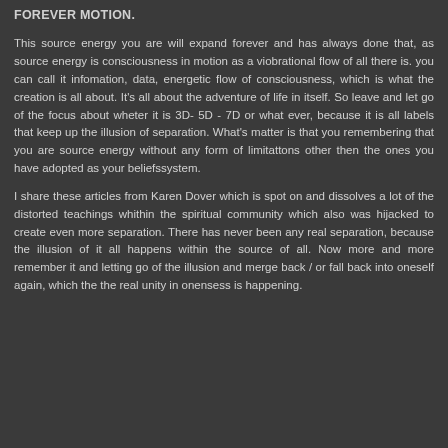FOREVER MOTION.
This source energy you are will expand forever and has always done that, as source energy is consciousness in motion as a viobrational flow of all there is. you can call it infomation, data, energetic flow of consciousness, which is what the creation is all about. It's all about the adventure of life in itself. So leave and let go of the focus about wheter it is 3D- 5D - 7D or what ever, because it is all labels that keep up the illusion of separation. What's matter is that you remembering that you are source energy without any form of limitattons other then the ones you have adopted as your beliefssystem.
I share these articles from Karen Dover which is spot on and dissolves a lot of the distorted teachings whithin the spiritual community which also was hijacked to create even more separation. There has never been any real separation, because the illusion of it all happens within the source of all. Now more and more remember it and letting go of the illusion and merge back / or fall back into oneself again, which the the real unity in onensess is happening.